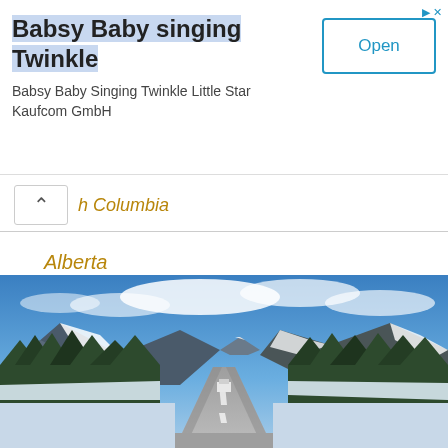Babsy Baby singing Twinkle
Babsy Baby Singing Twinkle Little Star Kaufcom GmbH
Open
h Columbia
Alberta
Manitoba
Ontario
[Figure (photo): Scenic winter highway stretching into the distance flanked by snow-covered mountains and evergreen trees under a blue sky with clouds.]